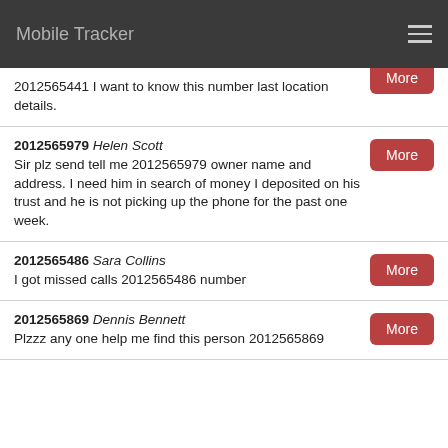Mobile Tracker
2012565441 I want to know this number last location details.
2012565979 Helen Scott
Sir plz send tell me 2012565979 owner name and address. I need him in search of money I deposited on his trust and he is not picking up the phone for the past one week.
2012565486 Sara Collins
I got missed calls 2012565486 number
2012565869 Dennis Bennett
Plzzz any one help me find this person 2012565869